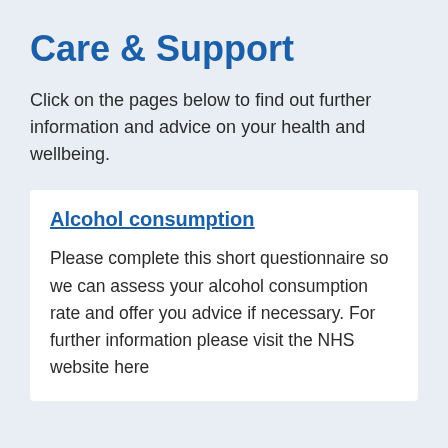Care & Support
Click on the pages below to find out further information and advice on your health and wellbeing.
Alcohol consumption
Please complete this short questionnaire so we can assess your alcohol consumption rate and offer you advice if necessary. For further information please visit the NHS website here